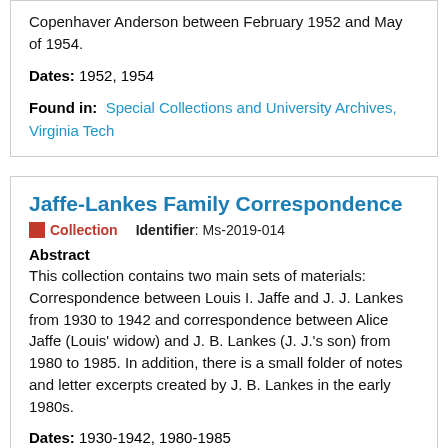Copenhaver Anderson between February 1952 and May of 1954.
Dates: 1952, 1954
Found in:  Special Collections and University Archives, Virginia Tech
Jaffe-Lankes Family Correspondence
Collection   Identifier: Ms-2019-014
Abstract
This collection contains two main sets of materials: Correspondence between Louis I. Jaffe and J. J. Lankes from 1930 to 1942 and correspondence between Alice Jaffe (Louis' widow) and J. B. Lankes (J. J.'s son) from 1980 to 1985. In addition, there is a small folder of notes and letter excerpts created by J. B. Lankes in the early 1980s.
Dates: 1930-1942, 1980-1985
Found in:  Special Collections and University Archives, Virginia Tech